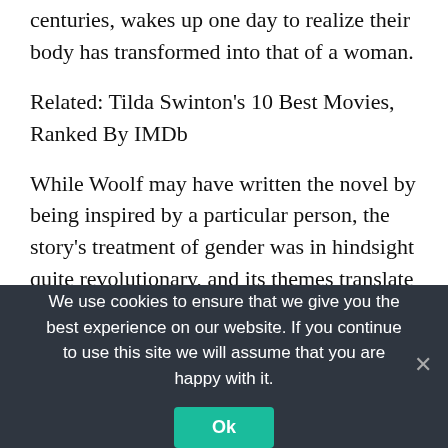centuries, wakes up one day to realize their body has transformed into that of a woman.
Related: Tilda Swinton's 10 Best Movies, Ranked By IMDb
While Woolf may have written the novel by being inspired by a particular person, the story's treatment of gender was in hindsight quite revolutionary, and its themes translate well to the film, even if many plot points (aside from the transformation) have changed. Read metaphorically, it is a love letter to the human soul
We use cookies to ensure that we give you the best experience on our website. If you continue to use this site we will assume that you are happy with it.
Ok